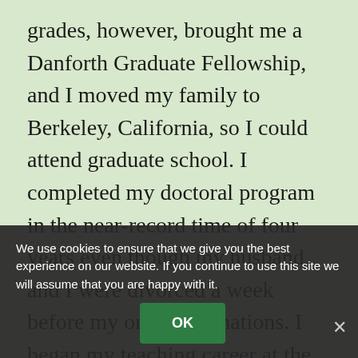grades, however, brought me a Danforth Graduate Fellowship, and I moved my family to Berkeley, California, so I could attend graduate school. I completed my doctoral program in the near-record time of four years even though my husband and I were divorced a week before my oral examinations. I began my teaching career at the University of Texas and within four years had earned tenure and promotion, started a business, and married an architect who was also heavily committed to his career. Ten years after receiving my doctorate, I accepted the vice-presidency of Texas State University.
I had climbed fast and hard and loved the feeling of being accepted, of being chosen, that marked each promotion. More and more, I felt part of the inner circle. But I was paying a high price for my career gains. I regularly worked sixty to seventy hours a week, and I had little energy for a personal life. The year I accepted the
We use cookies to ensure that we give you the best experience on our website. If you continue to use this site we will assume that you are happy with it.